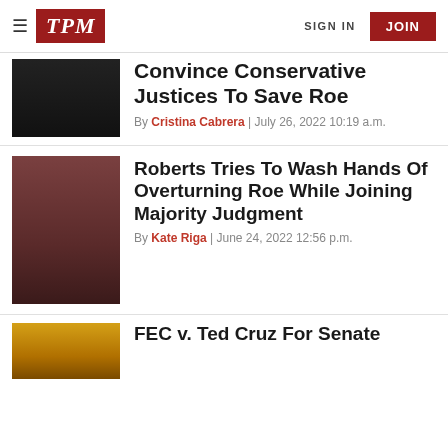TPM | SIGN IN | JOIN
Convince Conservative Justices To Save Roe
By Cristina Cabrera | July 26, 2022 10:19 a.m.
Roberts Tries To Wash Hands Of Overturning Roe While Joining Majority Judgment
By Kate Riga | June 24, 2022 12:56 p.m.
FEC v. Ted Cruz For Senate